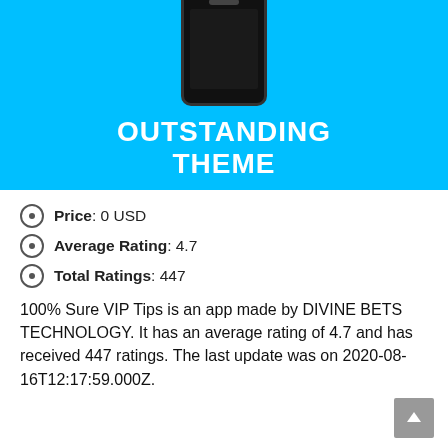[Figure (illustration): Cyan/blue banner with a smartphone device graphic at top and bold white text reading 'OUTSTANDING THEME']
Price: 0 USD
Average Rating: 4.7
Total Ratings: 447
100% Sure VIP Tips is an app made by DIVINE BETS TECHNOLOGY. It has an average rating of 4.7 and has received 447 ratings. The last update was on 2020-08-16T12:17:59.000Z.